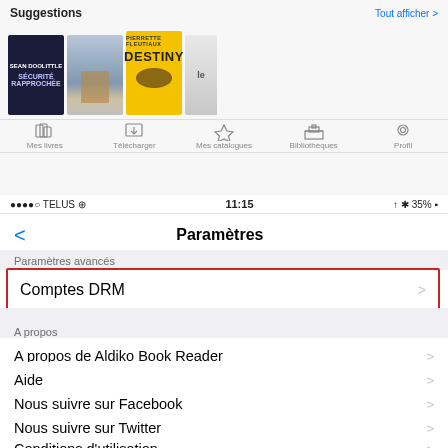[Figure (screenshot): iOS app screenshot showing Aldiko Book Reader suggestions bar with book covers and bottom navigation icons]
●●●●○ TELUS ⓦ   11:15   ↑ ✱ 35% ▪
Paramètres
Paramètres avancés
Comptes DRM
A propos
A propos de Aldiko Book Reader
Aide
Nous suivre sur Facebook
Nous suivre sur Twitter
Conditions d'utilisation
Politique de vie privée
Informer un ami
Noter sur l'App Store